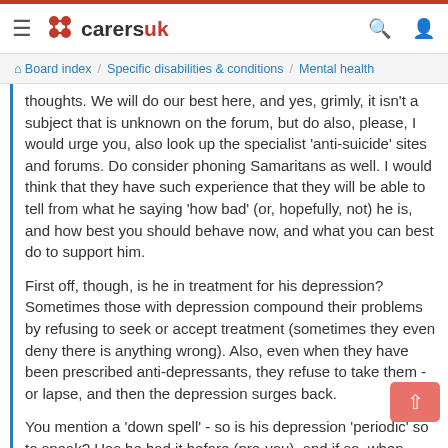carersuk (logo) | Board index / Specific disabilities & conditions / Mental health
thoughts. We will do our best here, and yes, grimly, it isn't a subject that is unknown on the forum, but do also, please, I would urge you, also look up the specialist 'anti-suicide' sites and forums. Do consider phoning Samaritans as well. I would think that they have such experience that they will be able to tell from what he saying 'how bad' (or, hopefully, not) he is, and how best you should behave now, and what you can best do to support him.
First off, though, is he in treatment for his depression? Sometimes those with depression compound their problems by refusing to seek or accept treatment (sometimes they even deny there is anything wrong). Also, even when they have been prescribed anti-depressants, they refuse to take them - or lapse, and then the depression surges back.
You mention a 'down spell' - so is his depression 'periodic' so to speak? Has he had it before (pre-you), and if so, when.